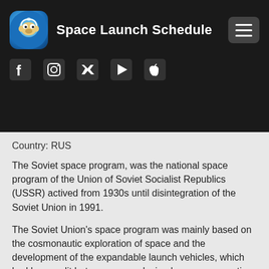Space Launch Schedule
[Figure (logo): Space Launch Schedule app logo - monkey astronaut in blue circle]
Country: RUS
The Soviet space program, was the national space program of the Union of Soviet Socialist Republics (USSR) actived from 1930s until disintegration of the Soviet Union in 1991.
The Soviet Union's space program was mainly based on the cosmonautic exploration of space and the development of the expandable launch vehicles, which had been split between many design bureaus competing against each other. Over its 60- CLOSE f